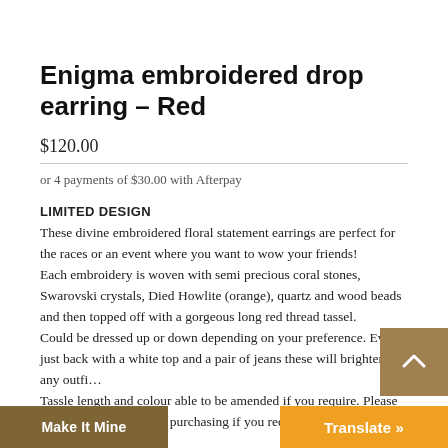Enigma embroidered drop earring – Red
$120.00
or 4 payments of $30.00 with Afterpay
LIMITED DESIGN
These divine embroidered floral statement earrings are perfect for the races or an event where you want to wow your friends! Each embroidery is woven with semi precious coral stones, Swarovski crystals, Died Howlite (orange), quartz and wood beads and then topped off with a gorgeous long red thread tassel. Could be dressed up or down depending on your preference. Even just back with a white top and a pair of jeans these will brighten up any outfit. Tassle length and colour able to be amended if you require. Please just message me before purchasing if you require changes.